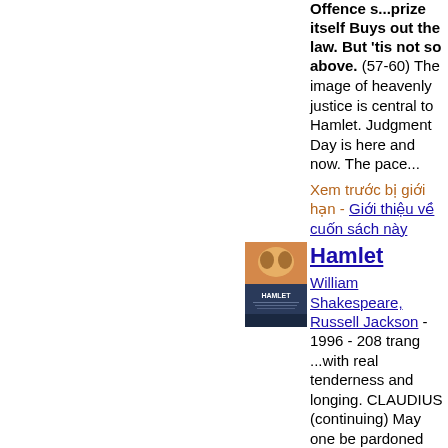Offence s...prize itself Buys out the law. But 'tis not so above. (57-60) The image of heavenly justice is central to Hamlet. Judgment Day is here and now. The pace...
Xem trước bị giới hạn - Giới thiệu về cuốn sách này
[Figure (photo): Book cover of Hamlet showing two figures and the title HAMLET]
Hamlet
William Shakespeare, Russell Jackson - 1996 - 208 trang
...with real tenderness and longing. CLAUDIUS (continuing) May one be pardoned and retain th'